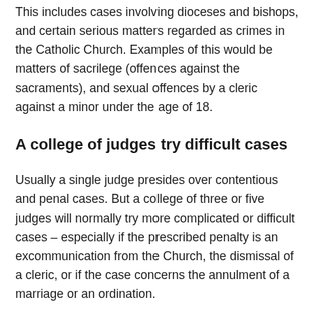This includes cases involving dioceses and bishops, and certain serious matters regarded as crimes in the Catholic Church. Examples of this would be matters of sacrilege (offences against the sacraments), and sexual offences by a cleric against a minor under the age of 18.
A college of judges try difficult cases
Usually a single judge presides over contentious and penal cases. But a college of three or five judges will normally try more complicated or difficult cases – especially if the prescribed penalty is an excommunication from the Church, the dismissal of a cleric, or if the case concerns the annulment of a marriage or an ordination.
Other officers of the tribunal include the promoter of justice, who is the prosecutor in penal cases. The tribunal